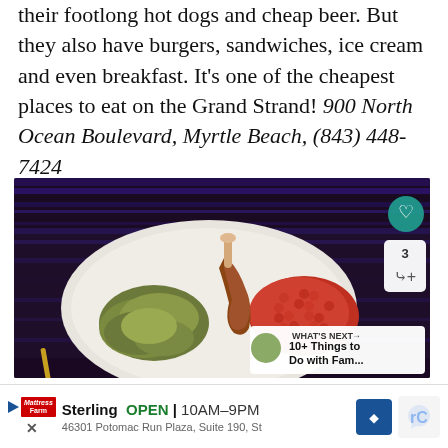their footlong hot dogs and cheap beer. But they also have burgers, sandwiches, ice cream and even breakfast. It's one of the cheapest places to eat on the Grand Strand! 900 North Ocean Boulevard, Myrtle Beach, (843) 448-7424
[Figure (photo): A plate of food on a white dish featuring a roasted meat leg/drumstick, a pile of red berry-like items (possibly red couscous or small red beans), and a green salad-like side dish. The background shows blue and purple lighting. Social media UI overlays visible including a heart/like button, share button showing count 3, and a 'What's Next' recommendation card for '10+ Things to Do with Fam...']
WHAT'S NEXT → 10+ Things to Do with Fam...
Sterling  OPEN  10AM–9PM  46301 Potomac Run Plaza, Suite 190, St